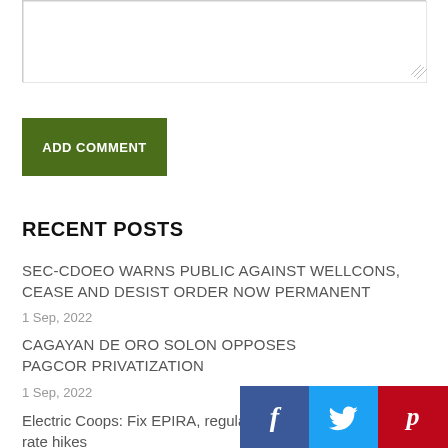[Figure (screenshot): Textarea input box with resize handle at bottom right]
ADD COMMENT
RECENT POSTS
SEC-CDOEO WARNS PUBLIC AGAINST WELLCONS, CEASE AND DESIST ORDER NOW PERMANENT
1 Sep, 2022
CAGAYAN DE ORO SOLON OPPOSES PAGCOR PRIVATIZATION
1 Sep, 2022
Electric Coops: Fix EPIRA, regulate pow rate hikes
[Figure (screenshot): Social sharing bar with Facebook, Twitter, and Pinterest icons]